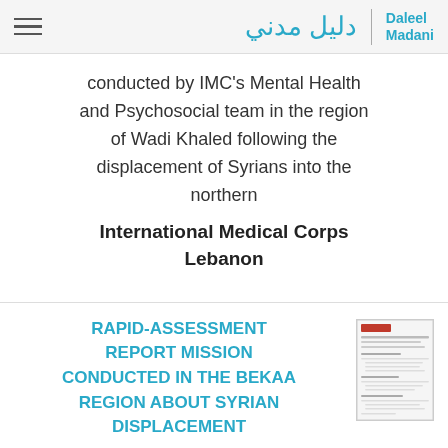Daleel Madani (دليل مدني)
conducted by IMC's Mental Health and Psychosocial team in the region of Wadi Khaled following the displacement of Syrians into the northern
International Medical Corps Lebanon
RAPID-ASSESSMENT REPORT MISSION CONDUCTED IN THE BEKAA REGION ABOUT SYRIAN DISPLACEMENT
تاريخ النشر: السبت, 1 يناير 2011
UNHCR, coordinating the operations in the North along side